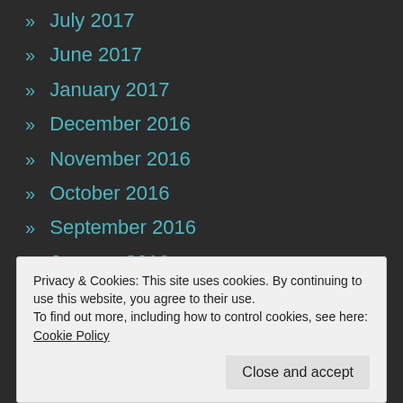» July 2017
» June 2017
» January 2017
» December 2016
» November 2016
» October 2016
» September 2016
» January 2016
» December 2015
» June 2015
Privacy & Cookies: This site uses cookies. By continuing to use this website, you agree to their use.
To find out more, including how to control cookies, see here: Cookie Policy
Close and accept